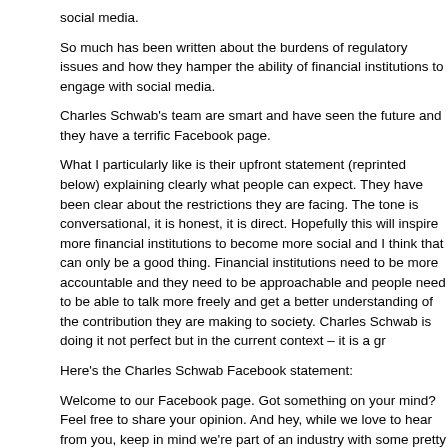social media.
So much has been written about the burdens of regulatory issues and how they hamper the ability of financial institutions to engage with social media.
Charles Schwab’s team are smart and have seen the future and they have a terrific Facebook page.
What I particularly like is their upfront statement (reprinted below) explaining clearly what people can expect. They have been clear about the restrictions they are facing. The tone is conversational, it is honest, it is direct. Hopefully this will inspire more financial institutions to become more social and I think that can only be a good thing. Financial institutions need to be more accountable and they need to be approachable and people need to be able to talk more freely and get a better understanding of the contribution they are making to society. Charles Schwab is doing it not perfect but in the current context – it is a gr
Here’s the Charles Schwab Facebook statement:
Welcome to our Facebook page. Got something on your mind? Feel free to share your opinion. And hey, while we love to hear from you, keep in mind we’re part of an industry with some pretty strict rules on replying to comments and having dialogue in public forums so if you don’t hear from us, or we remove posts because they’re in violation of certain requirements – don’t take it personally, we’re just playing by the ru… Hopefully you agree.
Always remember: